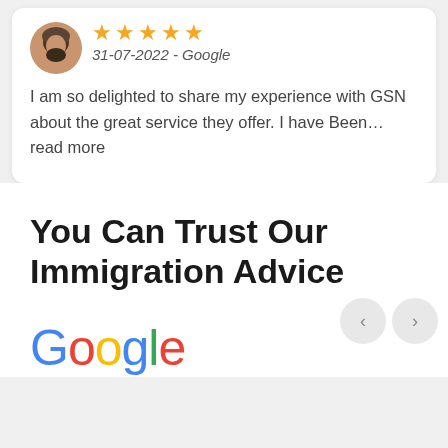[Figure (photo): Profile photo of a man with a beard and turban, partially visible in top-left corner of review card]
★★★★★
31-07-2022 - Google
I am so delighted to share my experience with GSN about the great service they offer. I have Been… read more
You Can Trust Our Immigration Advice
[Figure (logo): Google logo in multicolor (blue, red, yellow, green)]